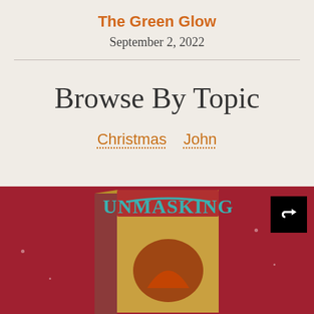The Green Glow
September 2, 2022
Browse By Topic
Christmas
John
[Figure (photo): A DVD/book product box titled 'UNMASKING' on a dark red background with a share button in the top right corner]